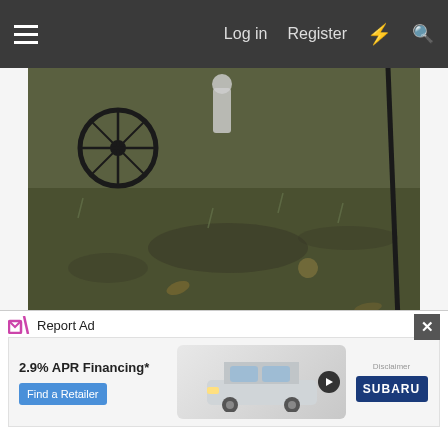Log in  Register
[Figure (photo): Outdoor photo showing grass and dirt ground with bicycle parts and a metal rod or stick visible]
The frame isn't in bad shape except the bottom of the chainstays look pretty rough. Some holes might open up if I wire wheel them.
[Figure (photo): Close-up photo of rusty bicycle chainstays on grass and dirt ground, with blue frame tubes visible]
Report Ad
[Figure (screenshot): Subaru advertisement banner showing 2.9% APR Financing* with a Subaru SUV image, Find a Retailer button, Disclaimer text, and Subaru logo]